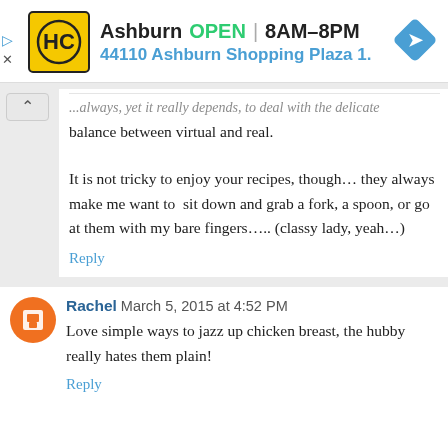[Figure (infographic): HC logo advertisement banner: Ashburn OPEN 8AM-8PM, 44110 Ashburn Shopping Plaza 1., with navigation arrow icon]
balance between virtual and real.
It is not tricky to enjoy your recipes, though... they always make me want to sit down and grab a fork, a spoon, or go at them with my bare fingers..... (classy lady, yeah...)
Reply
Rachel  March 5, 2015 at 4:52 PM
Love simple ways to jazz up chicken breast, the hubby really hates them plain!
Reply